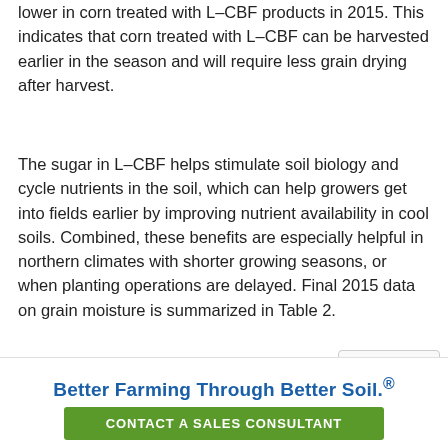lower in corn treated with L-CBF products in 2015. This indicates that corn treated with L-CBF can be harvested earlier in the season and will require less grain drying after harvest.
The sugar in L-CBF helps stimulate soil biology and cycle nutrients in the soil, which can help growers get into fields earlier by improving nutrient availability in cool soils. Combined, these benefits are especially helpful in northern climates with shorter growing seasons, or when planting operations are delayed. Final 2015 data on grain moisture is summarized in Table 2.
| Treatment (gal/ac) | DeKalb | Champaign | Harrisburg | Average |
| --- | --- | --- | --- | --- |
Better Farming Through Better Soil.®
CONTACT A SALES CONSULTANT